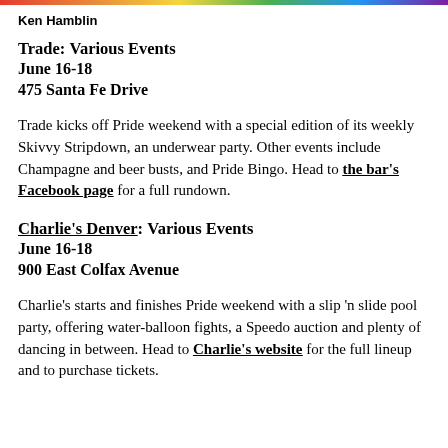Ken Hamblin
Trade: Various Events
June 16-18
475 Santa Fe Drive
Trade kicks off Pride weekend with a special edition of its weekly Skivvy Stripdown, an underwear party. Other events include Champagne and beer busts, and Pride Bingo. Head to the bar's Facebook page for a full rundown.
Charlie's Denver: Various Events
June 16-18
900 East Colfax Avenue
Charlie's starts and finishes Pride weekend with a slip 'n slide pool party, offering water-balloon fights, a Speedo auction and plenty of dancing in between. Head to Charlie's website for the full lineup and to purchase tickets.